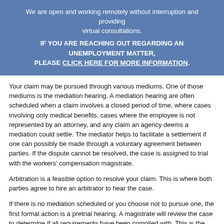We are open and working remotely without interruption and providing virtual consultations. IF YOU ARE REACHING OUT REGARDING AN UNEMPLOYMENT MATTER, PLEASE CLICK HERE FOR MORE INFORMATION.
Your claim may be pursued through various mediums. One of those mediums is the mediation hearing. A mediation hearing are often scheduled when a claim involves a closed period of time, where cases involving only medical benefits, cases where the employee is not represented by an attorney, and any claim an agency deems a mediation could settle. The mediator helps to facilitate a settlement if one can possibly be made through a voluntary agreement between parties. If the dispute cannot be resolved, the case is assigned to trial with the workers' compensation magistrate.
Arbitration is a feasible option to resolve your claim. This is where both parties agree to hire an arbitrator to hear the case.
If there is no mediation scheduled or you choose not to pursue one, the first formal action is a pretrial hearing. A magistrate will review the case to determine if all requirements have been complied with. This is the time where attorneys may present any preliminary hearings. At the end of the pretrial, the case is scheduled for a trial before the magistrate.
Trials conducted by the magistrate resemble trials where attorneys or even